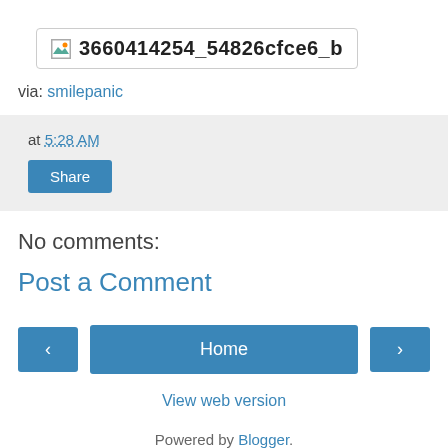[Figure (other): Broken image placeholder with filename: 3660414254_54826cfce6_b]
via: smilepanic
at 5:28 AM
Share
No comments:
Post a Comment
‹ Home ›
View web version
Powered by Blogger.